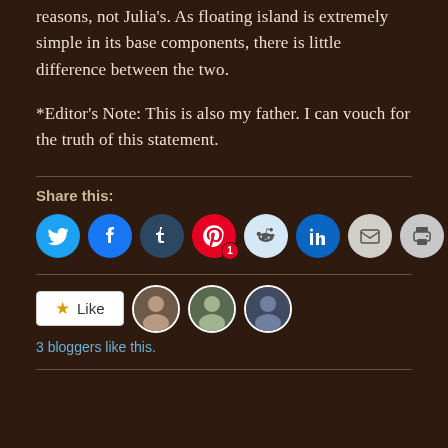reasons, not Julia's. As floating island is extremely simple in its base components, there is little difference between the two.
*Editor's Note: This is also my father. I can vouch for the truth of this statement.
Share this:
[Figure (infographic): Row of social media sharing icon buttons: Twitter (blue bird), Facebook (blue f), Tumblr (dark blue t), Pinterest (red P with badge '1'), Reddit (light blue alien), LinkedIn (blue in), Email (gray envelope), Print (gray printer)]
[Figure (infographic): Like button with star icon and three blogger avatar thumbnails. Text below reads '3 bloggers like this.']